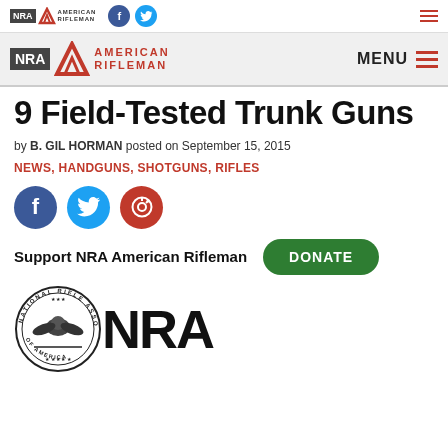NRA American Rifleman - top navigation bar with NRA logo, Facebook and Twitter icons, hamburger menu
NRA American Rifleman - secondary navigation bar with logo and MENU
9 Field-Tested Trunk Guns
by B. GIL HORMAN posted on September 15, 2015
NEWS, HANDGUNS, SHOTGUNS, RIFLES
Support NRA American Rifleman  DONATE
[Figure (logo): NRA National Rifle Association circular seal logo and NRA text logo]